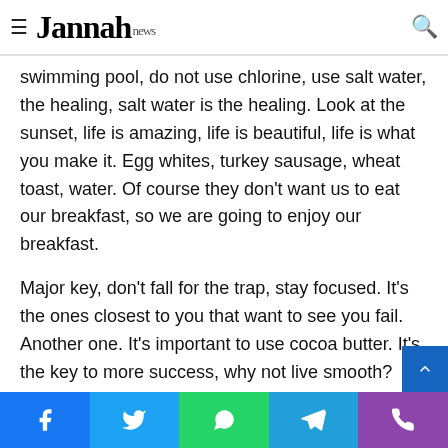≡ Jannah news [search icon]
swimming pool, do not use chlorine, use salt water, the healing, salt water is the healing. Look at the sunset, life is amazing, life is beautiful, life is what you make it. Egg whites, turkey sausage, wheat toast, water. Of course they don't want us to eat our breakfast, so we are going to enjoy our breakfast.
Major key, don't fall for the trap, stay focused. It's the ones closest to you that want to see you fail. Another one. It's important to use cocoa butter. It's the key to more success, why not live smooth? Why live rough? The key to success is to keep your head above the water, never give up. Watch your back, but more importantly when you get out the shower, dry your back, it's a cold world out there.
Facebook | Twitter | WhatsApp | Telegram | Phone